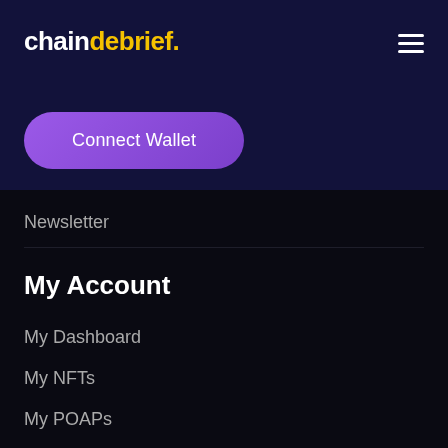chaindebrief.
[Figure (screenshot): Hamburger menu icon (three horizontal lines) in the top right corner]
Connect Wallet
Newsletter
My Account
My Dashboard
My NFTs
My POAPs
My Rewards